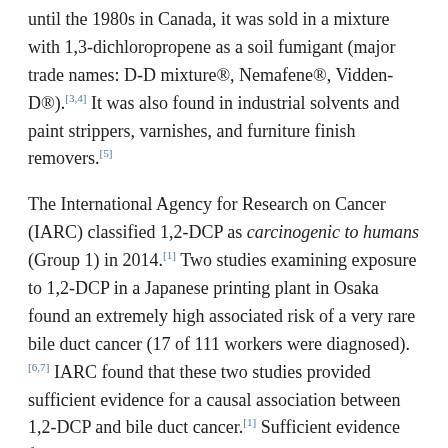until the 1980s in Canada, it was sold in a mixture with 1,3-dichloropropene as a soil fumigant (major trade names: D-D mixture®, Nemafene®, Vidden-D®).[3,4] It was also found in industrial solvents and paint strippers, varnishes, and furniture finish removers.[5]
The International Agency for Research on Cancer (IARC) classified 1,2-DCP as carcinogenic to humans (Group 1) in 2014.[1] Two studies examining exposure to 1,2-DCP in a Japanese printing plant in Osaka found an extremely high associated risk of a very rare bile duct cancer (17 of 111 workers were diagnosed).[6,7] IARC found that these two studies provided sufficient evidence for a causal association between 1,2-DCP and bile duct cancer.[1] Sufficient evidence for carcinogenicity was also reported in experimental animals, where malignant lung and liver tumors were observed in exposed mice.[1]